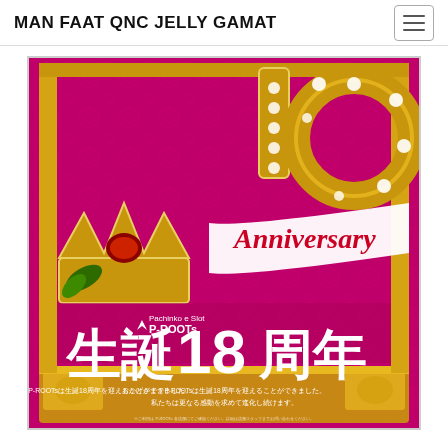MAN FAAT QNC JELLY GAMAT
[Figure (illustration): Promotional anniversary advertisement image for P-ROOTs pachinko & slot parlor. Features a magenta/fuchsia background with a gold ornate crown, diamond-studded ring, '10' digits decorated with diamonds, a white ribbon banner reading 'Anniversary' in red script, a gold decorative frame, and white Japanese text reading '生誕18周年' (18th anniversary). Smaller text reads 'Pachinko e Slot P-ROOTs' with a leaf logo, and body text in Japanese: おかげさまでP-ROOTsは生誕18周年を迎えることができました。私たちは更なる感動を求めて進化し続けます。]